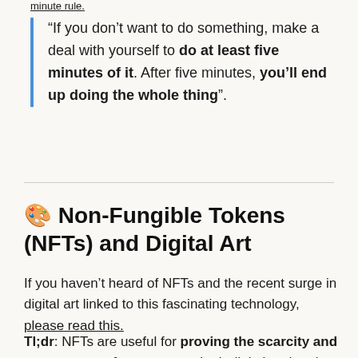minute rule
“If you don’t want to do something, make a deal with yourself to do at least five minutes of it. After five minutes, you’ll end up doing the whole thing”.
🎨 Non-Fungible Tokens (NFTs) and Digital Art
If you haven’t heard of NFTs and the recent surge in digital art linked to this fascinating technology, please read this.
Tl;dr: NFTs are useful for proving the scarcity and provenance of rare assets, both digital and real-world